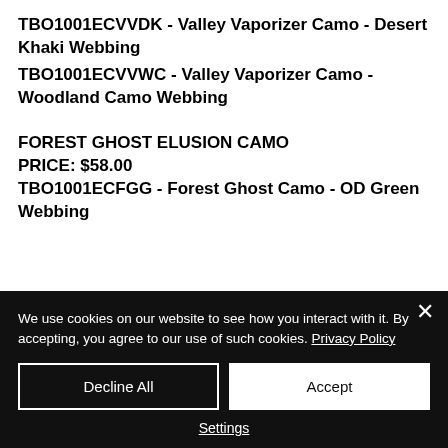TBO1001ECVVDK - Valley Vaporizer Camo - Desert Khaki Webbing
TBO1001ECVVWC - Valley Vaporizer Camo - Woodland Camo Webbing
FOREST GHOST ELUSION CAMO
PRICE: $58.00
TBO1001ECFGG - Forest Ghost Camo - OD Green Webbing
We use cookies on our website to see how you interact with it. By accepting, you agree to our use of such cookies. Privacy Policy
Decline All
Accept
Settings